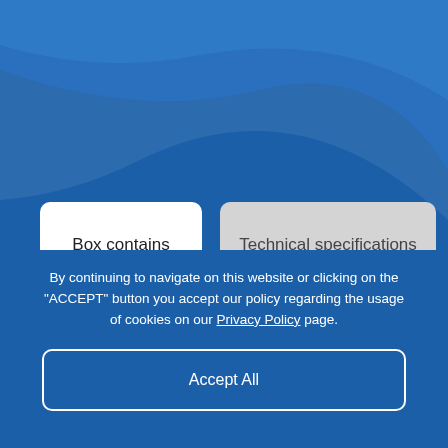[Figure (screenshot): Blue background with curved lighter blue decorative shape at the top of the page, representing a website header area]
Box contains
Technical specifications
By continuing to navigate on this website or clicking on the "ACCEPT" button you accept our policy regarding the usage of cookies on our Privacy Policy page.
Accept All